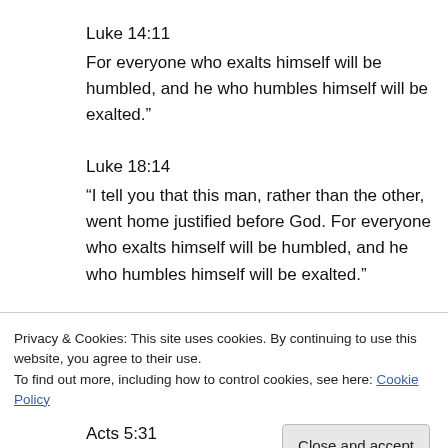Luke 14:11
For everyone who exalts himself will be humbled, and he who humbles himself will be exalted."
Luke 18:14
“I tell you that this man, rather than the other, went home justified before God. For everyone who exalts himself will be humbled, and he who humbles himself will be exalted."
Acts 2:33
Privacy & Cookies: This site uses cookies. By continuing to use this website, you agree to their use.
To find out more, including how to control cookies, see here: Cookie Policy
Acts 5:31